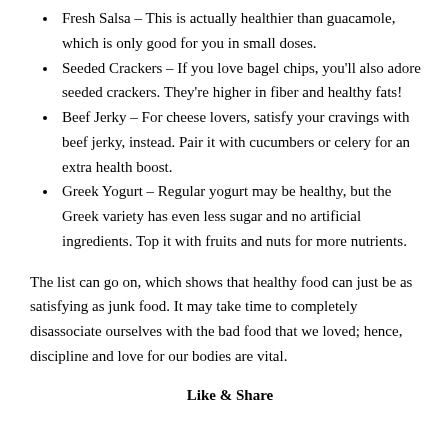Fresh Salsa – This is actually healthier than guacamole, which is only good for you in small doses.
Seeded Crackers – If you love bagel chips, you'll also adore seeded crackers. They're higher in fiber and healthy fats!
Beef Jerky – For cheese lovers, satisfy your cravings with beef jerky, instead. Pair it with cucumbers or celery for an extra health boost.
Greek Yogurt – Regular yogurt may be healthy, but the Greek variety has even less sugar and no artificial ingredients. Top it with fruits and nuts for more nutrients.
The list can go on, which shows that healthy food can just be as satisfying as junk food. It may take time to completely disassociate ourselves with the bad food that we loved; hence, discipline and love for our bodies are vital.
Like & Share